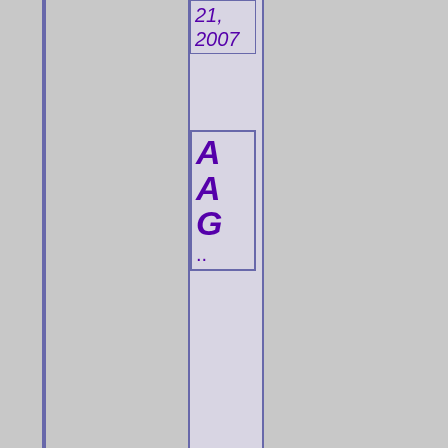21, 2007
AAG..
I've be ren in no up as an wil tel yo